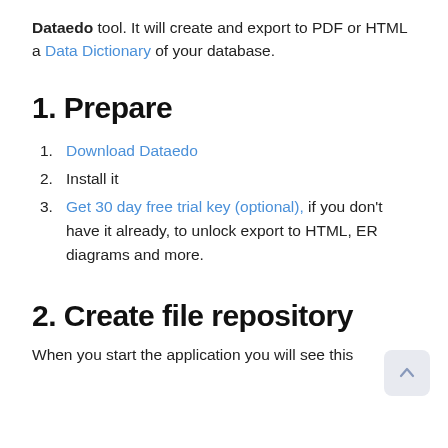Dataedo tool. It will create and export to PDF or HTML a Data Dictionary of your database.
1. Prepare
Download Dataedo
Install it
Get 30 day free trial key (optional), if you don't have it already, to unlock export to HTML, ER diagrams and more.
2. Create file repository
When you start the application you will see this